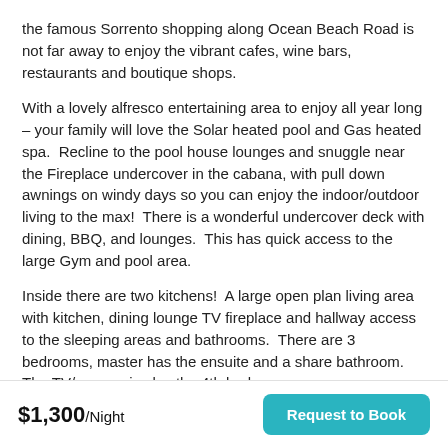the famous Sorrento shopping along Ocean Beach Road is not far away to enjoy the vibrant cafes, wine bars, restaurants and boutique shops.
With a lovely alfresco entertaining area to enjoy all year long – your family will love the Solar heated pool and Gas heated spa.  Recline to the pool house lounges and snuggle near the Fireplace undercover in the cabana, with pull down awnings on windy days so you can enjoy the indoor/outdoor living to the max!  There is a wonderful undercover deck with dining, BBQ, and lounges.  This has quick access to the large Gym and pool area.
Inside there are two kitchens!  A large open plan living area with kitchen, dining lounge TV fireplace and hallway access to the sleeping areas and bathrooms.  There are 3 bedrooms, master has the ensuite and a share bathroom.  The TV/rumpus is also the 4th bedroom on
$1,300/Night   Request to Book